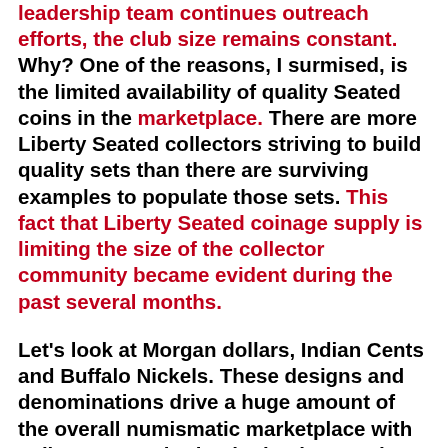leadership team continues outreach efforts, the club size remains constant. Why? One of the reasons, I surmised, is the limited availability of quality Seated coins in the marketplace. There are more Liberty Seated collectors striving to build quality sets than there are surviving examples to populate those sets. This fact that Liberty Seated coinage supply is limiting the size of the collector community became evident during the past several months.
Let's look at Morgan dollars, Indian Cents and Buffalo Nickels. These designs and denominations drive a huge amount of the overall numismatic marketplace with collectors numbering in the thousands. One visit to a coin show will reinforce this point as these coins are available from most dealers. The key date 1893-S Morgan has a mintage of 100,000 and is not a rare coin as 10-20 will be easily seen at the Denver ANA, maybe more. But walk the Denver ANA bourse and try to find key and semi-key date Liberty Seated coins in Very Fine through AU grades. This challenge will be substantial